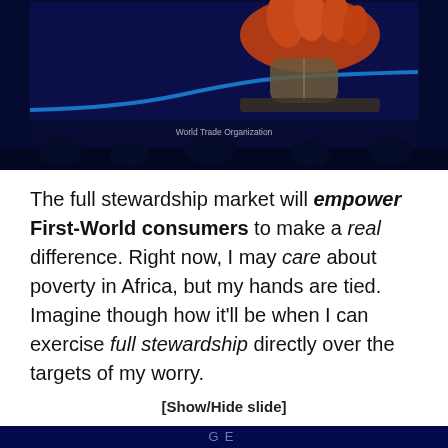[Figure (photo): A dark blue presentation screen showing a digital illustration of a hand (orange/red colored) pressing a computer mouse on a surface with a blue glowing line, with 'World Trade Organization' text visible at the bottom of the screen. Audience silhouettes visible at the bottom.]
The full stewardship market will empower First-World consumers to make a real difference. Right now, I may care about poverty in Africa, but my hands are tied. Imagine though how it'll be when I can exercise full stewardship directly over the targets of my worry.
[Show/Hide slide]
[Figure (screenshot): Partial view of another dark blue presentation slide at the bottom of the page, partially cut off.]